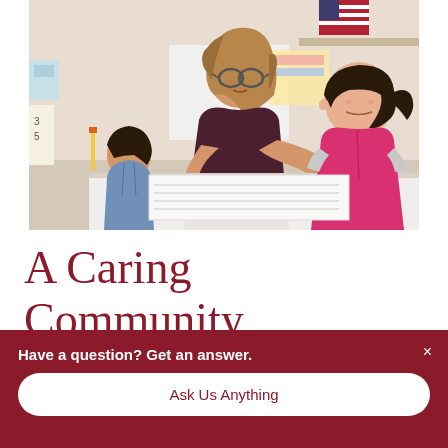[Figure (photo): A female teacher with glasses and long brown hair leaning over a desk, helping two young children with schoolwork. A girl in a pink vest is on the right, and a younger boy is on the left. A classroom background with an American flag is visible.]
A Caring Community
Have a question? Get an answer.
Ask Us Anything